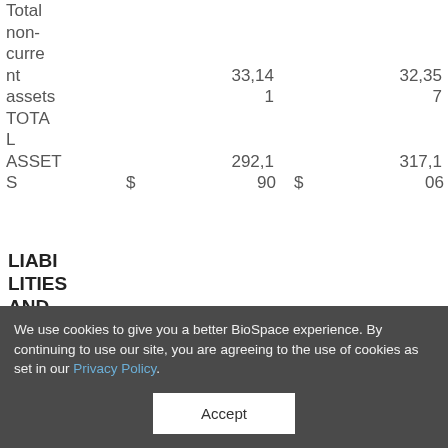|  | Col1 | Col2 |
| --- | --- | --- |
| Total non-current assets | 33,141 | 32,357 |
| TOTAL ASSETS | $ 292,190 | $ 317,106 |
LIABILITIES AND SHAR...
We use cookies to give you a better BioSpace experience. By continuing to use our site, you are agreeing to the use of cookies as set in our Privacy Policy.